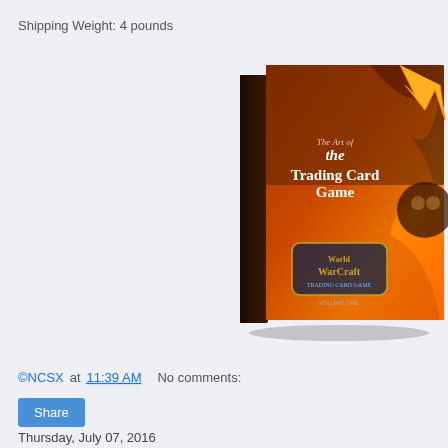Shipping Weight: 4 pounds
[Figure (photo): Book cover of 'The Art of the Trading Card Game' - World of Warcraft, shown at an angle. Dark cover with fiery orange/red imagery and a skull-like creature.]
©NCSX at 11:39 AM    No comments:
Share
Thursday, July 07, 2016
TCXS M...